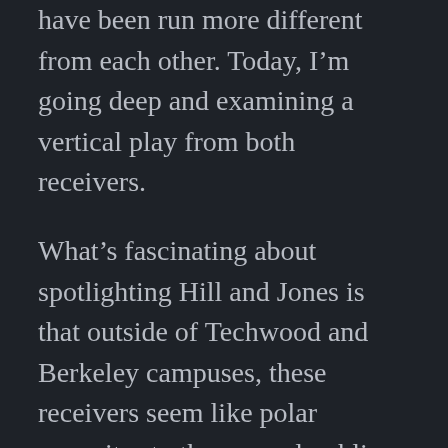have been run more different from each other. Today, I'm going deep and examining a vertical play from both receivers.
What's fascinating about spotlighting Hill and Jones is that outside of Techwood and Berkeley campuses, these receivers seem like polar opposites to the general public. Hill played in a run it and chuck it, triple option offense where he averaged 30 yards per catch for a stretch this year. Hill looks like the next generation mutant receivers – X-men that begin with Homer Jones and continues today with Calvin Johnson.